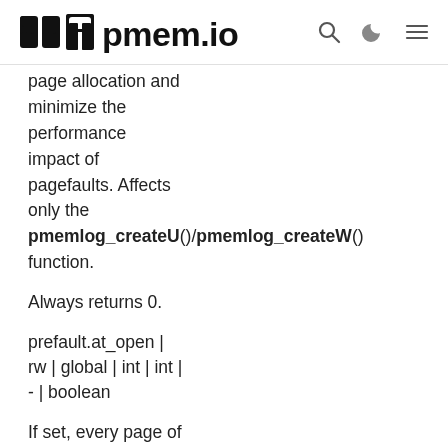pmem.io
page allocation and minimize the performance impact of pagefaults. Affects only the pmemlog_createU()/pmemlog_createW() function.
Always returns 0.
prefault.at_open | rw | global | int | int | - | boolean
If set, every page of the pool will be touched and